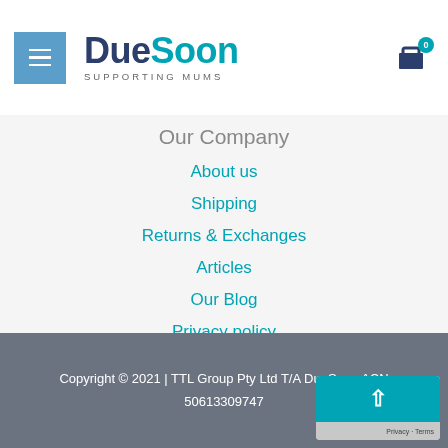DueSoon — Supporting Mums
Our Company
About us
Shipping
Returns & Exchanges
Articles
Our Blog
Privacy policy
Terms & Conditions
Copyright © 2021 | TTL Group Pty Ltd T/A DueSoon ACN 50613309747